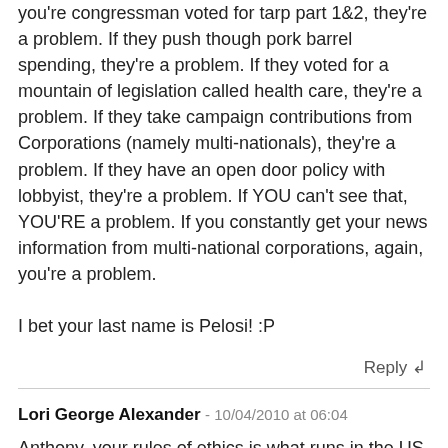you're congressman voted for tarp part 1&2, they're a problem. If they push though pork barrel spending, they're a problem. If they voted for a mountain of legislation called health care, they're a problem. If they take campaign contributions from Corporations (namely multi-nationals), they're a problem. If they have an open door policy with lobbyist, they're a problem. If YOU can't see that, YOU'RE a problem. If you constantly get your news information from multi-national corporations, again, you're a problem.

I bet your last name is Pelosi! :P
Reply ↲
Lori George Alexander - 10/04/2010 at 06:04
Anthony, your rules of ethics is what runs in the US under the so-called Tea Party. According to some running for office you can claim whatever degree from whatever university or claim your opponent has affairs